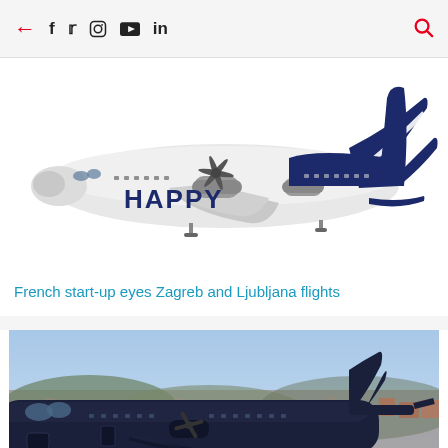← f 𝕏 📷 ▶ in 🔍
[Figure (illustration): Side-view illustration of a white aircraft with dark navy blue tail and 'HAPPY' lettering on fuselage, with decorative wave livery on tail section.]
French start-up eyes Zagreb and Ljubljana flights
[Figure (photo): Photograph of a dark navy/black turboprop aircraft on ground with city and hills in background, partially visible with airline logo partially visible at bottom.]